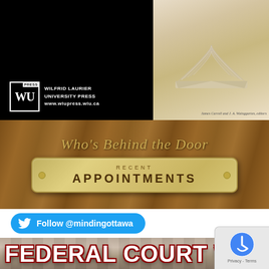[Figure (illustration): Wilfrid Laurier University Press publisher advertisement banner with black background, WLU logo on left, open book image on right]
[Figure (illustration): Wood-grain background banner with gold italic text 'Who's Behind the Door' and a gold plaque reading 'RECENT APPOINTMENTS']
[Figure (illustration): Twitter follow button with blue rounded rectangle reading 'Follow @mindingottawa']
[Figure (illustration): Federal Court Watch banner with stone column background, large bold text 'FEDERAL COURT WATCH' and 'UPDATED DAILY' with red diamond decorations]
[Figure (illustration): Partial view of a book advertisement on green background with quote 'Illustrates the complex nature']
[Figure (illustration): Google reCAPTCHA privacy badge in bottom right corner with robot icon and 'Privacy - Terms' text]